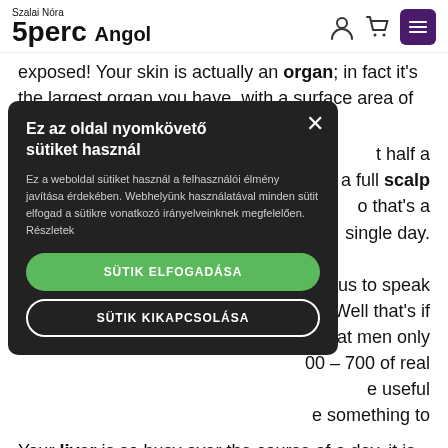Szalai Nóra 5perc Angol
exposed! Your skin is actually an organ; in fact it's the largest organ you have, with a surface area of 18 square feet (2 square metres).
[Figure (other): Cookie consent modal overlay with title 'Ez az oldal nyomkövető sütiket használ', body text, accept button 'SÜTIK ELFOGADÁSA', and reject button 'SÜTIK KIKAPCSOLÁSA'. Background shows partial article text.]
t half a with a full scalp o that's a single day.
w us to speak Well that's if that men only 00 – 700 of real e useful e something to
Your liver is so busy over the course of a day, it is almost